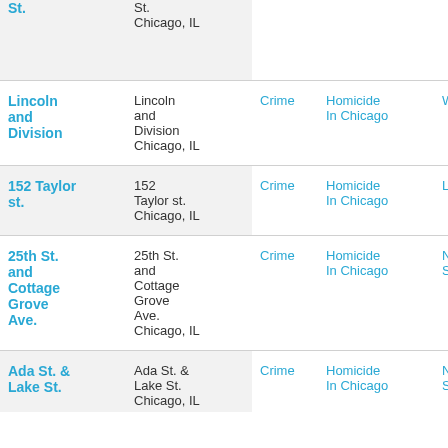| Location | Address | Category | Topic | Neighborhood |
| --- | --- | --- | --- | --- |
| St. | St.
Chicago, IL |  |  |  |
| Lincoln and Division | Lincoln and Division Chicago, IL | Crime | Homicide In Chicago | West Town |
| 152 Taylor st. | 152 Taylor st. Chicago, IL | Crime | Homicide In Chicago | Loop |
| 25th St. and Cottage Grove Ave. | 25th St. and Cottage Grove Ave. Chicago, IL | Crime | Homicide In Chicago | Near South Side |
| Ada St. & Lake St. | Ada St. & Lake St. Chicago, IL | Crime | Homicide In Chicago | Near West Side |